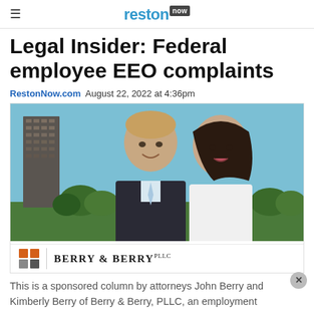reston now
Legal Insider: Federal employee EEO complaints
RestonNow.com  August 22, 2022 at 4:36pm
[Figure (photo): Two attorneys (man and woman) smiling in professional attire, with a tall building and trees in the background. Berry & Berry PLLC logo shown at bottom of image.]
This is a sponsored column by attorneys John Berry and Kimberly Berry of Berry & Berry, PLLC, an employment